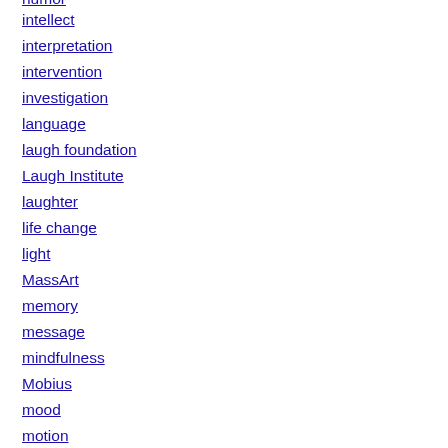humor
intellect
interpretation
intervention
investigation
language
laugh foundation
Laugh Institute
laughter
life change
light
MassArt
memory
message
mindfulness
Mobius
mood
motion
music